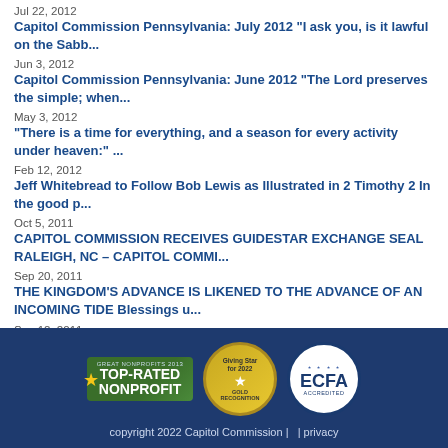Jul 22, 2012
Capitol Commission Pennsylvania: July 2012 “I ask you, is it lawful on the Sabb...
Jun 3, 2012
Capitol Commission Pennsylvania: June 2012 “The Lord preserves the simple; when...
May 3, 2012
“There is a time for everything, and a season for every activity under heaven:” ...
Feb 12, 2012
Jeff Whitebread to Follow Bob Lewis as Illustrated in 2 Timothy 2 In the good p...
Oct 5, 2011
CAPITOL COMMISSION RECEIVES GUIDESTAR EXCHANGE SEAL RALEIGH, NC – CAPITOL COMMI...
Sep 20, 2011
THE KINGDOM'S ADVANCE IS LIKENED TO THE ADVANCE OF AN INCOMING TIDE Blessings u...
Sep 12, 2011
Recently I initiated an email survey among the members attending our Capitol Com...
[Figure (logo): Footer with three badges: Great Nonprofits 2013 Top-Rated Nonprofit, Giving Star gold badge, and ECFA Accredited circle badge]
copyright 2022 Capitol Commission |   | privacy